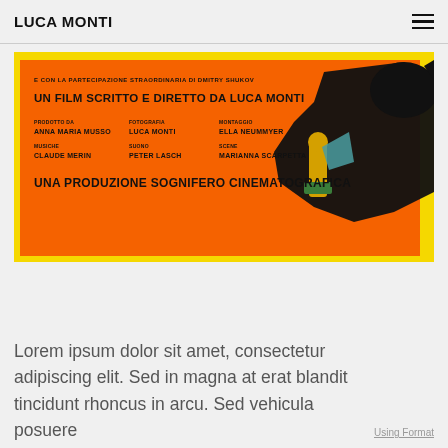LUCA MONTI
[Figure (illustration): Movie poster with orange and yellow background showing a bullfighter and black bull. Text in Italian reads: 'E CON LA PARTECIPAZIONE STRAORDINARIA DI DMITRY SHUKOV', 'UN FILM SCRITTO E DIRETTO DA LUCA MONTI', followed by crew credits: PRODOTTO DA ANNA MARIA MUSSO, FOTOGRAFIA LUCA MONTI, MONTAGGIO ELLA NEUMMYER, MUSICHE CLAUDE MERIN, SUONO PETER LASCH, SCENE MARIANNA SCARPETTA, and 'UNA PRODUZIONE SOGNIFERO CINEMATOGRAFICA']
Lorem ipsum dolor sit amet, consectetur adipiscing elit. Sed in magna at erat blandit tincidunt rhoncus in arcu. Sed vehicula posuere
Using Format